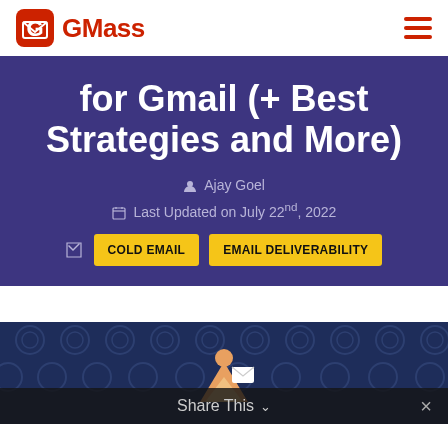GMass
for Gmail (+ Best Strategies and More)
Ajay Goel
Last Updated on July 22nd, 2022
COLD EMAIL
EMAIL DELIVERABILITY
[Figure (illustration): Decorative illustration with envelope/email imagery on a dark blue patterned background]